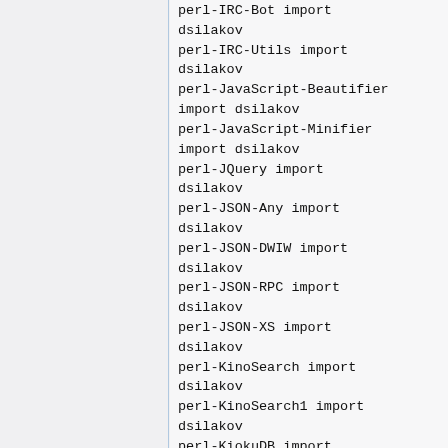perl-IRC-Bot import dsilakov
perl-IRC-Utils import dsilakov
perl-JavaScript-Beautifier import dsilakov
perl-JavaScript-Minifier import dsilakov
perl-JQuery import dsilakov
perl-JSON-Any import dsilakov
perl-JSON-DWIW import dsilakov
perl-JSON-RPC import dsilakov
perl-JSON-XS import dsilakov
perl-KinoSearch import dsilakov
perl-KinoSearch1 import dsilakov
perl-KiokuDB import dsilakov
perl-KiokuDB-Backend-DBI